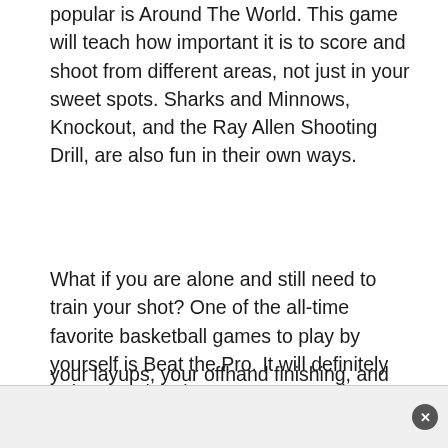popular is Around The World. This game will teach how important it is to score and shoot from different areas, not just in your sweet spots. Sharks and Minnows, Knockout, and the Ray Allen Shooting Drill, are also fun in their own ways.
What if you are alone and still need to train your shot? One of the all-time favorite basketball games to play by yourself is Beat the Pro. It will definitely help your shooting accuracy. Another one that is often ignored is the Mikan Drill. This will teach you to improve your layups, your offhand finishing, and